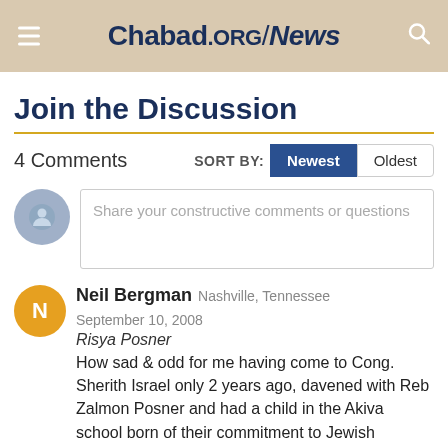Chabad.ORG / News
Join the Discussion
4 Comments
Share your constructive comments or questions
Neil Bergman  Nashville, Tennessee  September 10, 2008
Risya Posner
How sad & odd for me having come to Cong. Sherith Israel only 2 years ago, davened with Reb Zalmon Posner and had a child in the Akiva school born of their commitment to Jewish